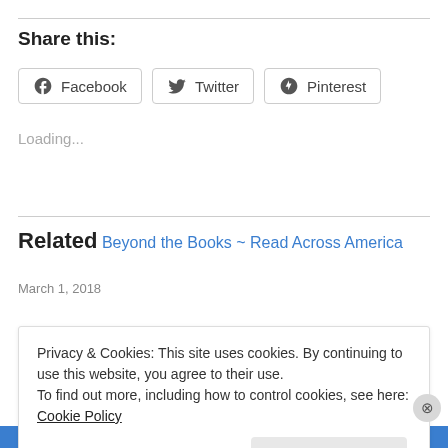Share this:
Facebook  Twitter  Pinterest
Loading...
Related
Beyond the Books ~ Read Across America
March 1, 2018
Privacy & Cookies: This site uses cookies. By continuing to use this website, you agree to their use.
To find out more, including how to control cookies, see here: Cookie Policy
Close and accept